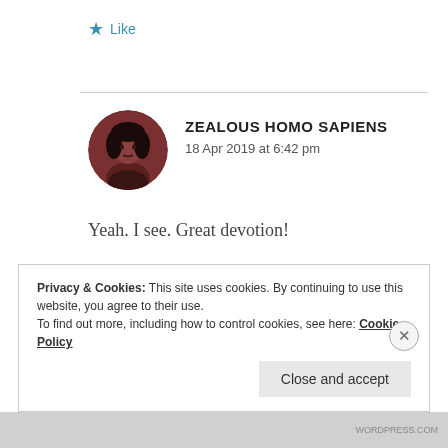★ Like
ZEALOUS HOMO SAPIENS
18 Apr 2019 at 6:42 pm
[Figure (photo): Circular avatar photo of a person with dark hair, reddish-brown toned image]
Yeah. I see. Great devotion!
★ Like
Privacy & Cookies: This site uses cookies. By continuing to use this website, you agree to their use.
To find out more, including how to control cookies, see here: Cookie Policy
Close and accept